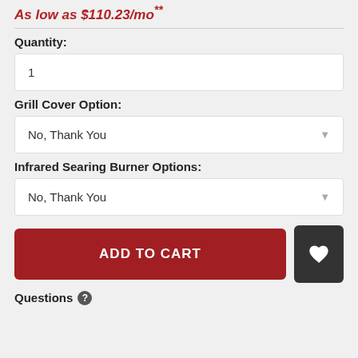As low as $110.23/mo**
Quantity:
1
Grill Cover Option:
No, Thank You
Infrared Searing Burner Options:
No, Thank You
ADD TO CART
[Figure (other): Wishlist/favorite heart icon button, dark gray square with white heart]
Questions ?